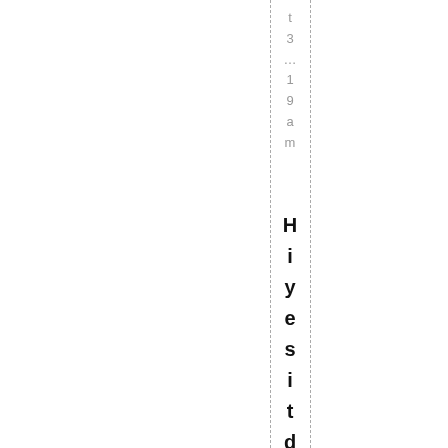t3...19am
Hi yes it did LOL ...Hi yes it d